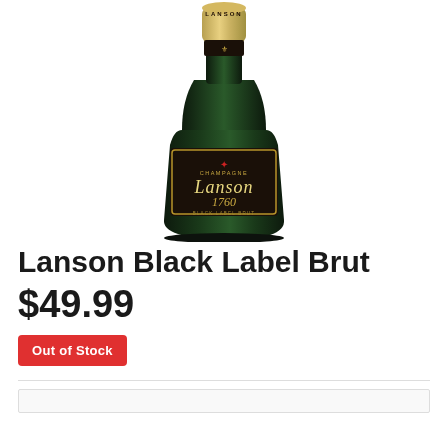[Figure (photo): Lanson Black Label Brut champagne bottle with dark green glass, black label reading 'Champagne Lanson 1760 Black Label Brut', gold foil neck wrap with LANSON text]
Lanson Black Label Brut
$49.99
Out of Stock